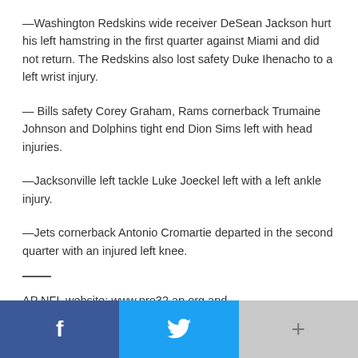—Washington Redskins wide receiver DeSean Jackson hurt his left hamstring in the first quarter against Miami and did not return. The Redskins also lost safety Duke Ihenacho to a left wrist injury.
— Bills safety Corey Graham, Rams cornerback Trumaine Johnson and Dolphins tight end Dion Sims left with head injuries.
—Jacksonville left tackle Luke Joeckel left with a left ankle injury.
—Jets cornerback Antonio Cromartie departed in the second quarter with an injured left knee.
AP NFL website: www.pro32.ap.org and www.twitter.com/AP_NFL